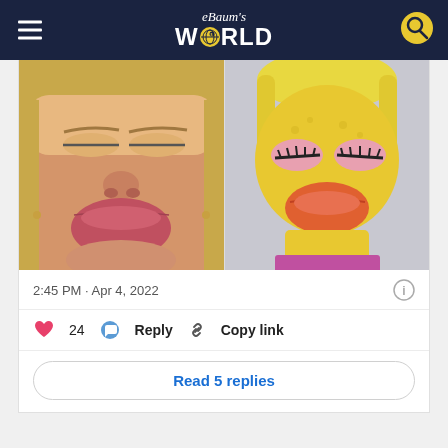eBaum's WORLD
[Figure (photo): Side-by-side comparison: left shows a woman with big puffy lips making a duck face with eyes closed and blonde hair; right shows a yellow rubber duck toy with blonde hair, pink eye shadow, dark eyelashes, and orange lips.]
2:45 PM · Apr 4, 2022
24  Reply  Copy link
Read 5 replies